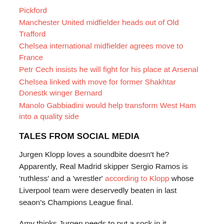Pickford
Manchester United midfielder heads out of Old Trafford
Chelsea international midfielder agrees move to France
Petr Cech insists he will fight for his place at Arsenal
Chelsea linked with move for former Shakhtar Donestk winger Bernard
Manolo Gabbiadini would help transform West Ham into a quality side
TALES FROM SOCIAL MEDIA
Jurgen Klopp loves a soundbite doesn’t he? Apparently, Real Madrid skipper Sergio Ramos is ‘ruthless’ and a ‘wrestler’ according to Klopp whose Liverpool team were deservedly beaten in last seaon’s Champions League final.
Amy thinks Jurgen needs to put a sock in it.